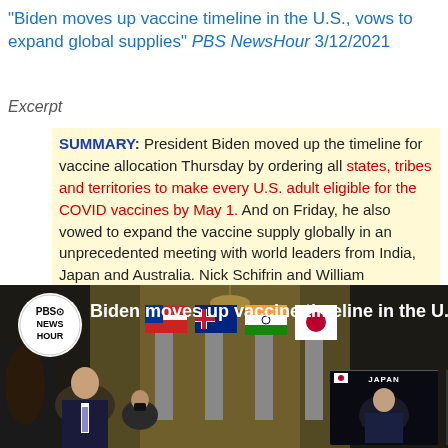"Biden moves up vaccine timeline in the U.S., vows to expand global supplies" PBS NewsHour 3/12/2021
Excerpt
SUMMARY: President Biden moved up the timeline for vaccine allocation Thursday by ordering all states, tribes and territories to make every U.S. adult eligible for the COVID vaccines by May 1. And on Friday, he also vowed to expand the vaccine supply globally in an unprecedented meeting with world leaders from India, Japan and Australia. Nick Schifrin and William Brangham join Judy Woodruff to discuss.
[Figure (screenshot): PBS NewsHour video thumbnail showing President Biden in a meeting with world leaders from India, Japan and Australia with flags in background. Video overlay text reads: Biden moves up vaccine timeline in the U.S., vow...]